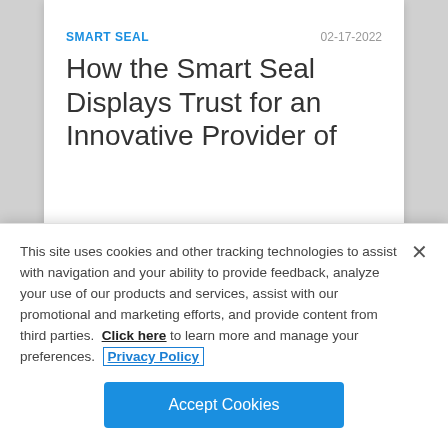SMART SEAL    02-17-2022
How the Smart Seal Displays Trust for an Innovative Provider of
This site uses cookies and other tracking technologies to assist with navigation and your ability to provide feedback, analyze your use of our products and services, assist with our promotional and marketing efforts, and provide content from third parties. Click here to learn more and manage your preferences. Privacy Policy
Accept Cookies